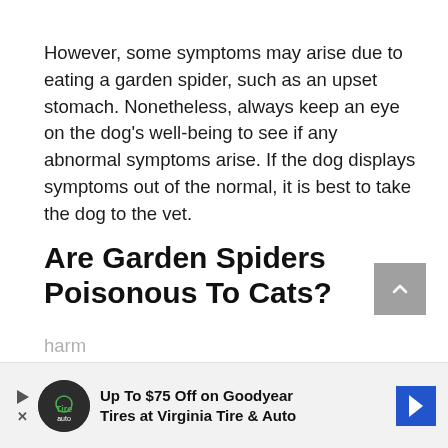However, some symptoms may arise due to eating a garden spider, such as an upset stomach. Nonetheless, always keep an eye on the dog's well-being to see if any abnormal symptoms arise. If the dog displays symptoms out of the normal, it is best to take the dog to the vet.
Are Garden Spiders Poisonous To Cats?
A garden spider bite is unlikely to cause serious harm
relief ... hase
[Figure (other): Advertisement banner: Up To $75 Off on Goodyear Tires at Virginia Tire & Auto, with Tire Auto logo and blue navigation arrow icon]